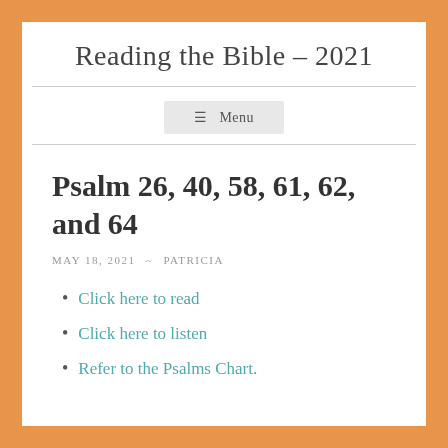Reading the Bible – 2021
Menu
Psalm 26, 40, 58, 61, 62, and 64
MAY 18, 2021 ~ PATRICIA
Click here to read
Click here to listen
Refer to the Psalms Chart.